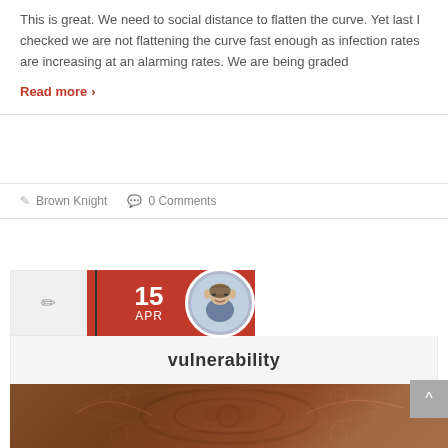This is great. We need to social distance to flatten the curve. Yet last I checked we are not flattening the curve fast enough as infection rates are increasing at an alarming rates. We are being graded
Read more ›
Brown Knight   0 Comments
[Figure (infographic): Date badge showing 15 APR with a pencil icon box, red date section with vertical divider, and a circular avatar photo of a cartoon character]
vulnerability
[Figure (photo): Ornate dark brown carved wooden furniture detail showing decorative floral and scroll patterns]